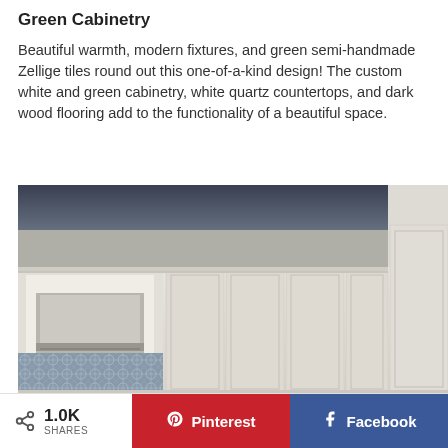Green Cabinetry
Beautiful warmth, modern fixtures, and green semi-handmade Zellige tiles round out this one-of-a-kind design! The custom white and green cabinetry, white quartz countertops, and dark wood flooring add to the functionality of a beautiful space.
[Figure (photo): Rendered kitchen interior showing white upper cabinets with shaker-style doors, a range hood on the left side, and geometric patterned tile backsplash visible at bottom left. The cabinets extend to the ceiling with crown molding.]
1.0K SHARES  Pinterest  Facebook